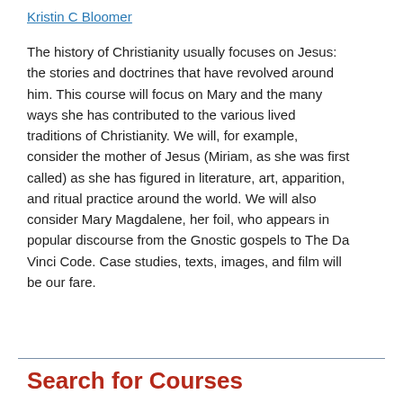Kristin C Bloomer
The history of Christianity usually focuses on Jesus: the stories and doctrines that have revolved around him. This course will focus on Mary and the many ways she has contributed to the various lived traditions of Christianity. We will, for example, consider the mother of Jesus (Miriam, as she was first called) as she has figured in literature, art, apparition, and ritual practice around the world. We will also consider Mary Magdalene, her foil, who appears in popular discourse from the Gnostic gospels to The Da Vinci Code. Case studies, texts, images, and film will be our fare.
Search for Courses